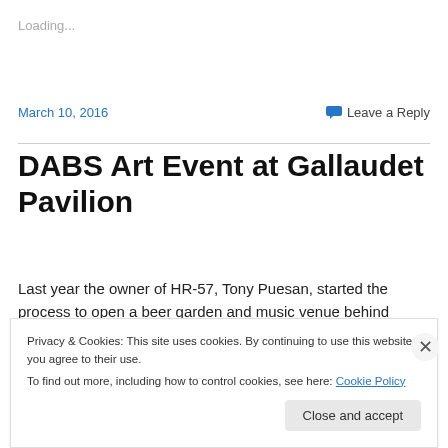Loading...
March 10, 2016
Leave a Reply
DABS Art Event at Gallaudet Pavilion
Last year the owner of HR-57, Tony Puesan, started the process to open a beer garden and music venue behind
Privacy & Cookies: This site uses cookies. By continuing to use this website, you agree to their use.
To find out more, including how to control cookies, see here: Cookie Policy
Close and accept